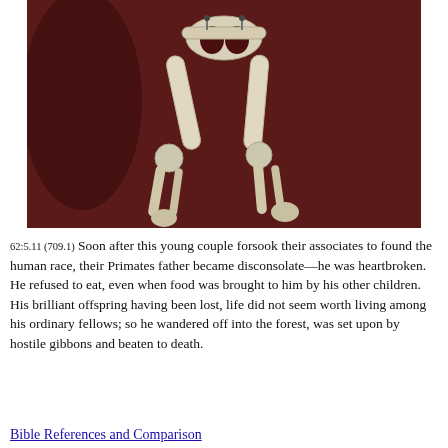[Figure (photo): Close-up photograph of a primate skeleton (gibbon or similar) against a dark reddish-brown background. The pelvis, femur bones, and lower limb bones are prominently visible, displayed as a museum specimen.]
62:5.11 (709.1) Soon after this young couple forsook their associates to found the human race, their Primates father became disconsolate—he was heartbroken. He refused to eat, even when food was brought to him by his other children. His brilliant offspring having been lost, life did not seem worth living among his ordinary fellows; so he wandered off into the forest, was set upon by hostile gibbons and beaten to death.
Bible References and Comparison